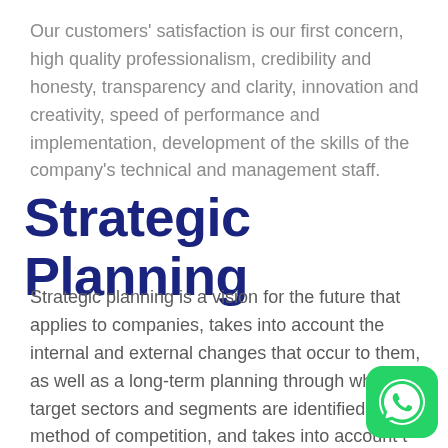Our customers' satisfaction is our first concern, high quality professionalism, credibility and honesty, transparency and clarity, innovation and creativity, speed of performance and implementation, development of the skills of the company's technical and management staff.
Strategic Planning
Strategic planning is a vision for the future that applies to companies, takes into account the internal and external changes that occur to them, as well as a long-term planning through which the target sectors and segments are identified and the method of competition, and takes into account t
[Figure (logo): WhatsApp green button icon with phone handset outline in white on green rounded square background]